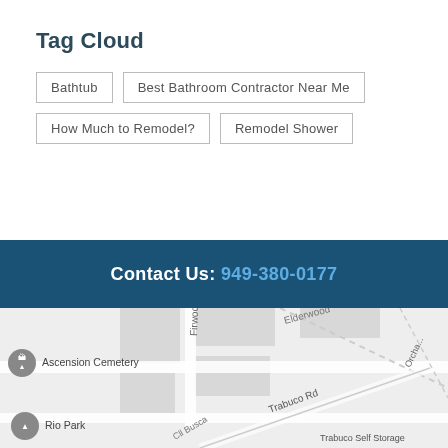Tag Cloud
Bathtub
Best Bathroom Contractor Near Me
How Much to Remodel?
Remodel Shower
Contact Us: 949-380-0177
[Figure (map): Google Maps screenshot showing area with Ascension Cemetery, Firwood, Elderwood, Rio Park, Cll Busca, Trabuco Rd, Trabuco Self Storage, and Orchard Ln labels.]